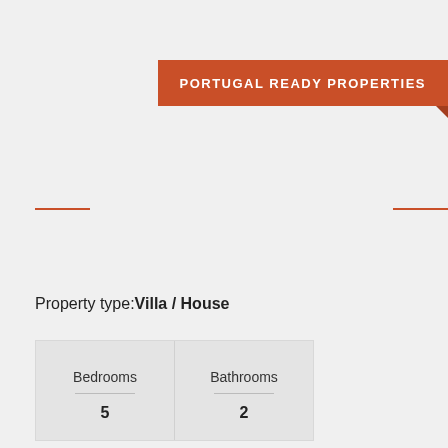PORTUGAL READY PROPERTIES
Property type: Villa / House
| Bedrooms | Bathrooms |
| --- | --- |
| 5 | 2 |